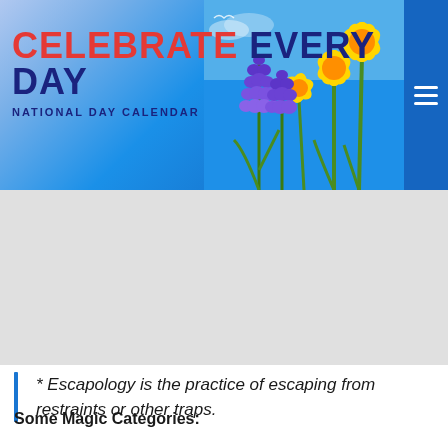[Figure (illustration): Website header banner for 'Celebrate Every Day - National Day Calendar' showing spring flowers (yellow daffodils and blue grape hyacinths) against a blue sky background with a hamburger menu icon on the right]
* Escapology is the practice of escaping from restraints or other traps.
Some Magic Categories: